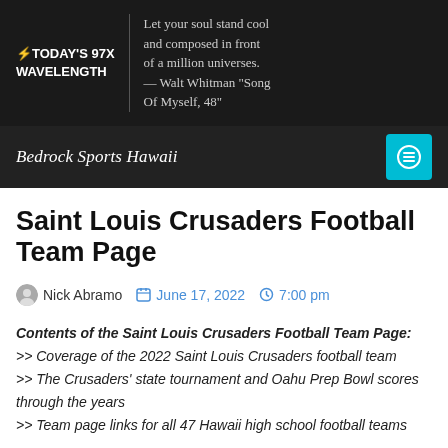⚡TODAY'S 97X WAVELENGTH | Let your soul stand cool and composed in front of a million universes. — Walt Whitman "Song Of Myself, 48"
Bedrock Sports Hawaii
Saint Louis Crusaders Football Team Page
Nick Abramo   June 17, 2022   7:00 pm
Contents of the Saint Louis Crusaders Football Team Page:
>> Coverage of the 2022 Saint Louis Crusaders football team
>> The Crusaders' state tournament and Oahu Prep Bowl scores through the years
>> Team page links for all 47 Hawaii high school football teams